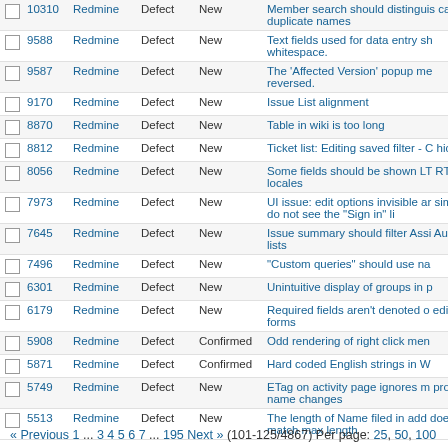|  | # | Project | Tracker | Status | Subject |
| --- | --- | --- | --- | --- | --- |
|  | 10310 | Redmine | Defect | New | Member search should distinguish case of duplicate names |
|  | 9588 | Redmine | Defect | New | Text fields used for data entry should trim whitespace. |
|  | 9587 | Redmine | Defect | New | The 'Affected Version' popup menu is reversed. |
|  | 9170 | Redmine | Defect | New | Issue List alignment |
|  | 8870 | Redmine | Defect | New | Table in wiki is too long |
|  | 8812 | Redmine | Defect | New | Ticket list: Editing saved filter - Columns hidden |
|  | 8056 | Redmine | Defect | New | Some fields should be shown LTR in RTL locales |
|  | 7973 | Redmine | Defect | New | UI issue: edit options invisible and simply do not see the "Sign in" li |
|  | 7645 | Redmine | Defect | New | Issue summary should filter Assignee/Author lists |
|  | 7496 | Redmine | Defect | New | "Custom queries" should use na |
|  | 6301 | Redmine | Defect | New | Unintuitive display of groups in p |
|  | 6179 | Redmine | Defect | New | Required fields aren't denoted on edit forms |
|  | 5908 | Redmine | Defect | Confirmed | Odd rendering of right click men |
|  | 5871 | Redmine | Defect | Confirmed | Hard coded English strings in W |
|  | 5749 | Redmine | Defect | New | ETag on activity page ignores project name changes |
|  | 5513 | Redmine | Defect | New | The length of Name filed in add does not match max length |
« Previous 1 ... 3 4 5 6 7 ... 195 Next » (101-125/4867) Per page: 25, 50, 100